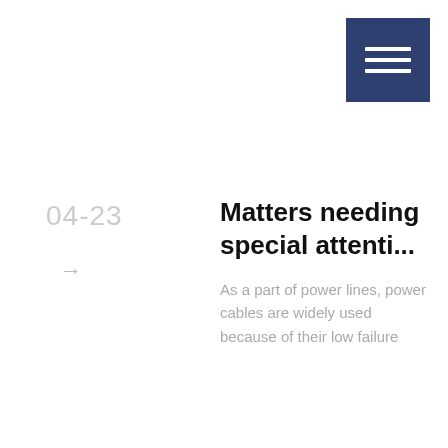[Figure (other): Blue square icon with three horizontal white lines representing a menu/list icon, positioned in the top-right corner]
04-23
Matters needing special attenti...
→
As a part of power lines, power cables are widely used because of their low failure